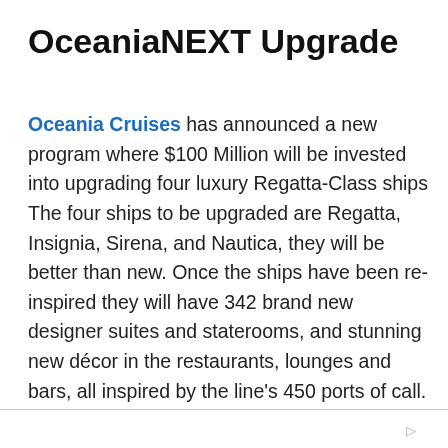OceaniaNEXT Upgrade
Oceania Cruises has announced a new program where $100 Million will be invested into upgrading four luxury Regatta-Class ships The four ships to be upgraded are Regatta, Insignia, Sirena, and Nautica, they will be better than new. Once the ships have been re-inspired they will have 342 brand new designer suites and staterooms, and stunning new décor in the restaurants, lounges and bars, all inspired by the line's 450 ports of call.